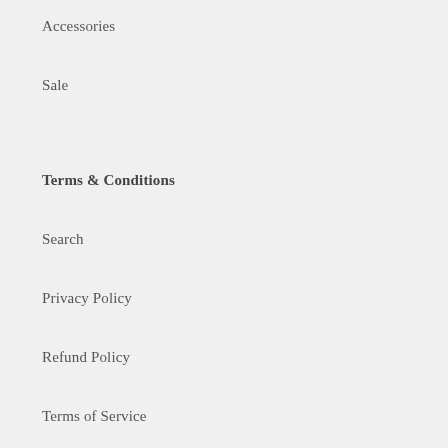Accessories
Sale
Terms & Conditions
Search
Privacy Policy
Refund Policy
Terms of Service
Shipping Policy